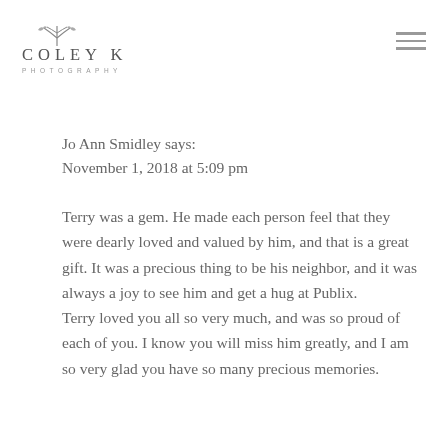[Figure (logo): Coley K Photography logo with leaf/branch icon above the text COLEY K and PHOTOGRAPHY below]
Jo Ann Smidley says:
November 1, 2018 at 5:09 pm
Terry was a gem. He made each person feel that they were dearly loved and valued by him, and that is a great gift. It was a precious thing to be his neighbor, and it was always a joy to see him and get a hug at Publix.
Terry loved you all so very much, and was so proud of each of you. I know you will miss him greatly, and I am so very glad you have so many precious memories.